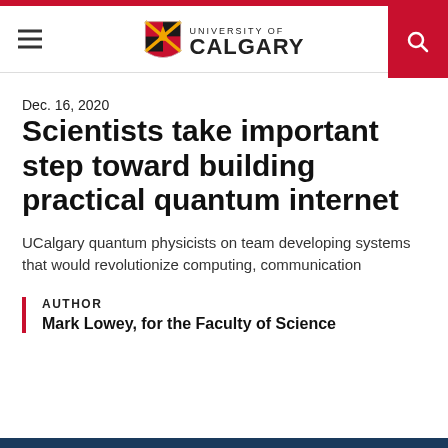University of Calgary
Dec. 16, 2020
Scientists take important step toward building practical quantum internet
UCalgary quantum physicists on team developing systems that would revolutionize computing, communication
AUTHOR
Mark Lowey, for the Faculty of Science